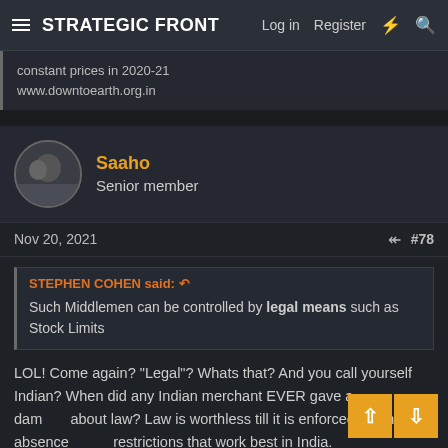STRATEGIC FRONT | Log in | Register
constant prices in 2020-21
www.downtoearth.org.in
Saaho
Senior member
Nov 20, 2021   #78
STEPHEN COHEN said: ↩

Such Middlemen can be controlled by legal means such as Stock Limits
LOL! Come again? "Legal"? Whats that? And you call yourself Indian? When did any Indian merchant EVER gave a damn about law? Law is worthless till it is enforced. Its the absence of restrictions that work best in India.